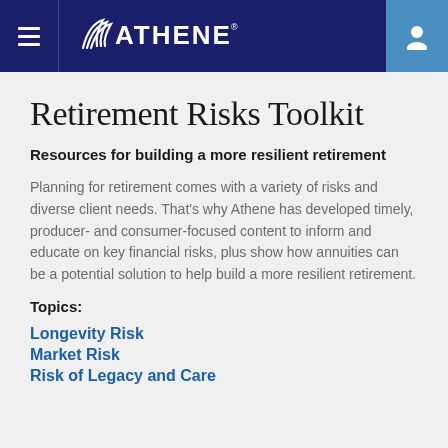ATHENE
Retirement Risks Toolkit
Resources for building a more resilient retirement
Planning for retirement comes with a variety of risks and diverse client needs. That's why Athene has developed timely, producer- and consumer-focused content to inform and educate on key financial risks, plus show how annuities can be a potential solution to help build a more resilient retirement.
Topics:
Longevity Risk
Market Risk
Risk of Legacy and Care